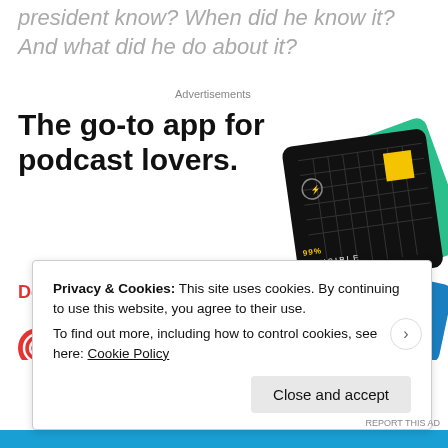president know? When did he know it? And what did he do about it?
Advertisements
[Figure (screenshot): Pocket Casts app advertisement showing podcast app cards (99% Invisible, The Daily, What Now) with bold headline 'The go-to app for podcast lovers.' and red 'Download now' CTA, plus Pocket Casts logo.]
Privacy & Cookies: This site uses cookies. By continuing to use this website, you agree to their use.
To find out more, including how to control cookies, see here: Cookie Policy
Close and accept